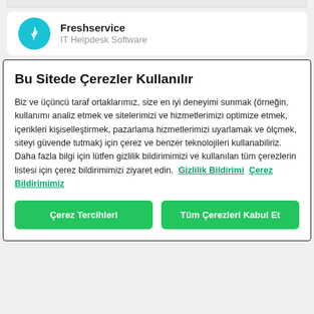[Figure (logo): Freshservice app card with teal lightning bolt logo, title Freshservice and subtitle IT Helpdesk Software]
Bu Sitede Çerezler Kullanılır
Biz ve üçüncü taraf ortaklarımız, size en iyi deneyimi sunmak (örneğin, kullanımı analiz etmek ve sitelerimizi ve hizmetlerimizi optimize etmek, içerikleri kişiselleştirmek, pazarlama hizmetlerimizi uyarlamak ve ölçmek, siteyi güvende tutmak) için çerez ve benzer teknolojileri kullanabiliriz. Daha fazla bilgi için lütfen gizlilik bildirimimizi ve kullanılan tüm çerezlerin listesi için çerez bildirimimizi ziyaret edin. Gizlilik Bildirimi Çerez Bildirimimiz
Çerez Tercihleri
Tüm Çerezleri Kabul Et